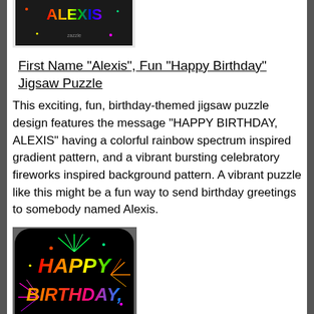[Figure (photo): Jigsaw puzzle product image showing 'ALEXIS' text with rainbow gradient on dark background with fireworks pattern]
First Name "Alexis", Fun "Happy Birthday" Jigsaw Puzzle
This exciting, fun, birthday-themed jigsaw puzzle design features the message "HAPPY BIRTHDAY, ALEXIS" having a colorful rainbow spectrum inspired gradient pattern, and a vibrant bursting celebratory fireworks inspired background pattern. A vibrant puzzle like this might be a fun way to send birthday greetings to somebody named Alexis.
[Figure (photo): Sticker product image showing 'HAPPY BIRTHDAY, ALEXIS' text in rainbow colors with fireworks on black background, rounded square shape]
First Name "Alexis", Fun "Happy Birthday" Sticker